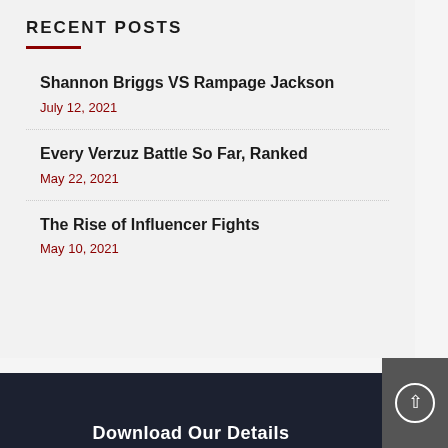RECENT POSTS
Shannon Briggs VS Rampage Jackson
July 12, 2021
Every Verzuz Battle So Far, Ranked
May 22, 2021
The Rise of Influencer Fights
May 10, 2021
Download Our Details